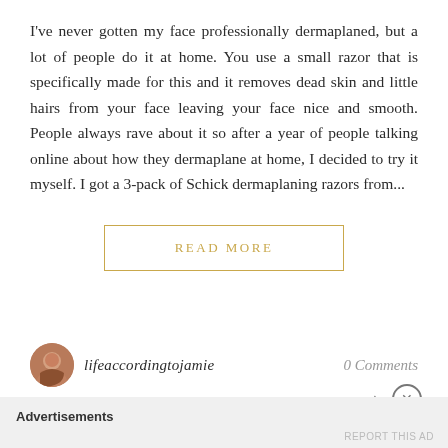I've never gotten my face professionally dermaplaned, but a lot of people do it at home. You use a small razor that is specifically made for this and it removes dead skin and little hairs from your face leaving your face nice and smooth. People always rave about it so after a year of people talking online about how they dermaplane at home, I decided to try it myself. I got a 3-pack of Schick dermaplaning razors from...
READ MORE
lifeaccordingtojamie
0 Comments
Advertisements
REPORT THIS AD